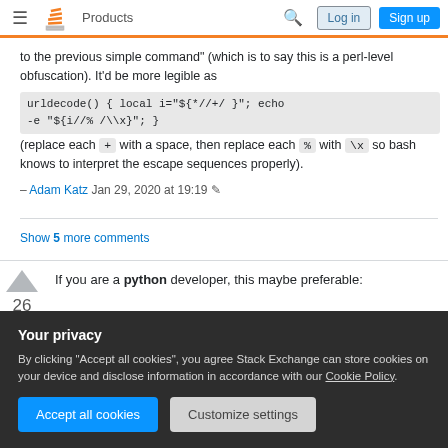≡  [Stack Overflow logo]  Products  🔍  Log in  Sign up
to the previous simple command" (which is to say this is a perl-level obfuscation). It'd be more legible as urldecode() { local i="${*//+/ }"; echo -e "${i//% /\x}"; } (replace each + with a space, then replace each % with \x so bash knows to interpret the escape sequences properly).
– Adam Katz  Jan 29, 2020 at 19:19 ✏
Show 5 more comments
If you are a python developer, this maybe preferable:
Your privacy
By clicking "Accept all cookies", you agree Stack Exchange can store cookies on your device and disclose information in accordance with our Cookie Policy.
Accept all cookies
Customize settings